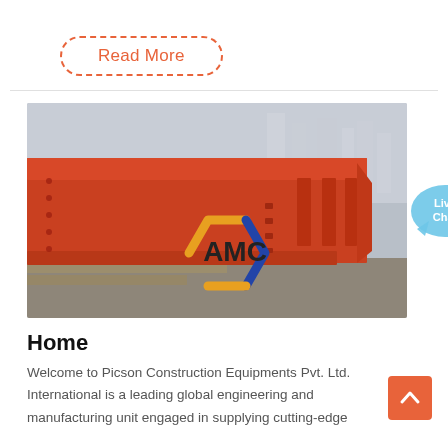Read More
[Figure (photo): Red steel crane girder/beam structure in a manufacturing or industrial yard, with AMC logo watermark overlay]
[Figure (illustration): Live Chat speech bubble icon in light blue with a small 'x' close button]
Home
[Figure (illustration): Orange square scroll-to-top button with white upward chevron arrow]
Welcome to Picson Construction Equipments Pvt. Ltd. International is a leading global engineering and manufacturing unit engaged in supplying cutting-edge